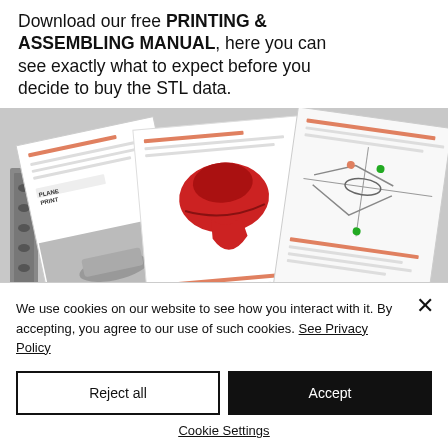Download our free PRINTING & ASSEMBLING MANUAL, here you can see exactly what to expect before you decide to buy the STL data.
[Figure (photo): Photo of printed and assembled manual pages spread out, showing plane parts and assembly diagrams with PlanePrint.com branding.]
We use cookies on our website to see how you interact with it. By accepting, you agree to our use of such cookies. See Privacy Policy
Reject all
Accept
Cookie Settings